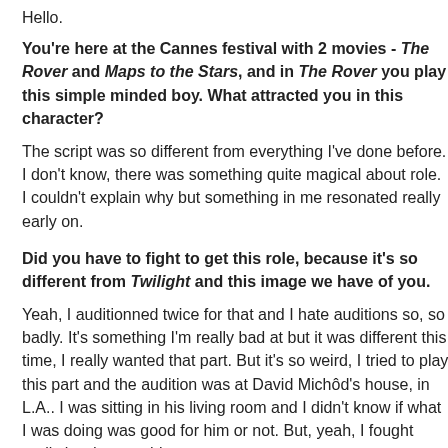Hello.
You're here at the Cannes festival with 2 movies - The Rover and Maps to the Stars, and in The Rover you play this simple minded boy. What attracted you in this character?
The script was so different from everything I've done before. I don't know, there was something quite magical about role. I couldn't explain why but something in me resonated really early on.
Did you have to fight to get this role, because it's so different from Twilight and this image we have of you.
Yeah, I auditionned twice for that and I hate auditions so, so badly. It's something I'm really bad at but it was different this time, I really wanted that part. But it's so weird, I tried to play this part and the audition was at David Michôd's house, in L.A.. I was sitting in his living room and I didn't know if what I was doing was good for him or not. But, yeah, I fought really hard to get this part.